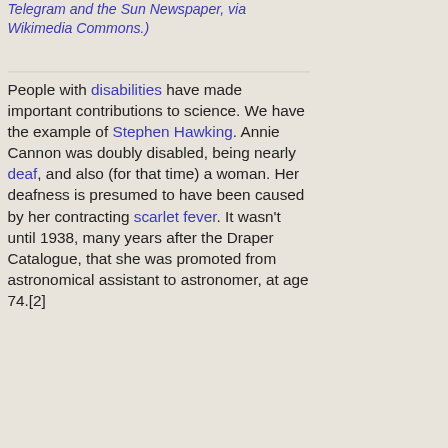Telegram and the Sun Newspaper, via Wikimedia Commons.)
People with disabilities have made important contributions to science. We have the example of Stephen Hawking. Annie Cannon was doubly disabled, being nearly deaf, and also (for that time) a woman. Her deafness is presumed to have been caused by her contracting scarlet fever. It wasn't until 1938, many years after the Draper Catalogue, that she was promoted from astronomical assistant to astronomer, at age 74.[2]
Aside from classifying stars